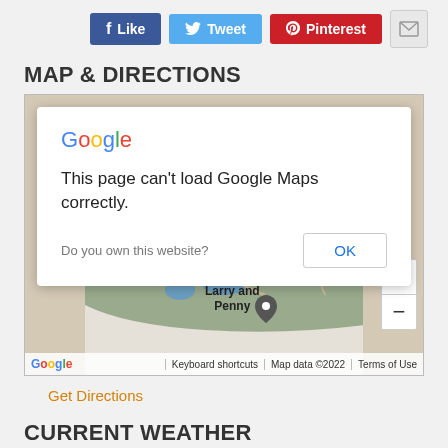[Figure (screenshot): Social media sharing buttons: Facebook Like, Twitter Tweet, Pinterest, and email icon]
MAP & DIRECTIONS
[Figure (screenshot): Google Maps embed showing a park area (Larry and Penny Thompson Memorial Park area) with a Google error dialog: 'This page can't load Google Maps correctly.' with OK button and 'Do you own this website?' prompt. Map footer shows Keyboard shortcuts, Map data ©2022, Terms of Use. Zoom +/- controls visible.]
Get Directions
CURRENT WEATHER